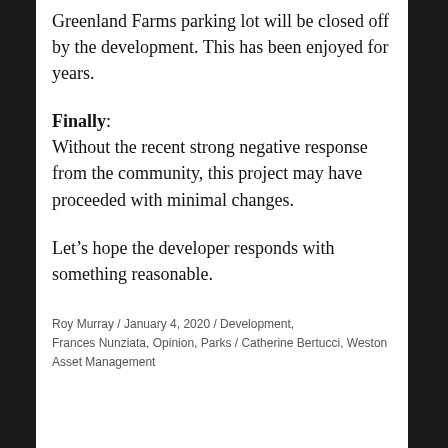Greenland Farms parking lot will be closed off by the development. This has been enjoyed for years.
Finally: Without the recent strong negative response from the community, this project may have proceeded with minimal changes.
Let’s hope the developer responds with something reasonable.
Roy Murray / January 4, 2020 / Development, Frances Nunziata, Opinion, Parks / Catherine Bertucci, Weston Asset Management